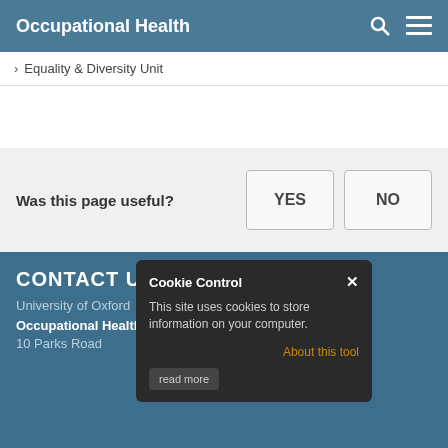Occupational Health
> Equality & Diversity Unit
Was this page useful?  YES  NO
CONTACT US
University of Oxford
Occupational Health Services
10 Parks Road
[Figure (screenshot): Cookie Control popup dialog with close button, message 'This site uses cookies to store information on your computer.', 'About this tool' link in orange, and 'read more' button.]